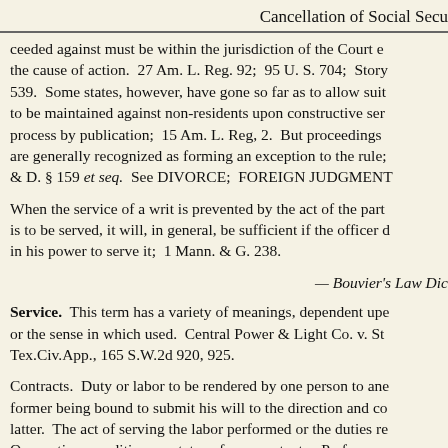Cancellation of Social Secu
ceeded against must be within the jurisdiction of the Court e the cause of action. 27 Am. L. Reg. 92; 95 U. S. 704; Story 539. Some states, however, have gone so far as to allow suit to be maintained against non-residents upon constructive ser process by publication; 15 Am. L. Reg, 2. But proceedings are generally recognized as forming an exception to the rule; & D. § 159 et seq. See DIVORCE; FOREIGN JUDGMENT
When the service of a writ is prevented by the act of the part is to be served, it will, in general, be sufficient if the officer d in his power to serve it; 1 Mann. & G. 238.
— Bouvier's Law Dic
Service. This term has a variety of meanings, dependent upe or the sense in which used. Central Power & Light Co. v. St Tex.Civ.App., 165 S.W.2d 920, 925.
Contracts. Duty or labor to be rendered by one person to ane former being bound to submit his will to the direction and co latter. The act of serving the labor performed or the duties re Occupation, condition, or status of a servant, etc. Performan